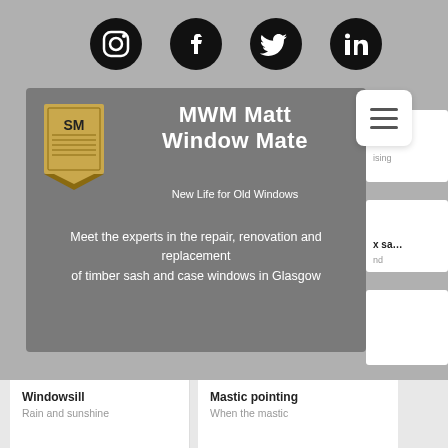[Figure (screenshot): Social media icons row: Instagram, Facebook, Twitter, LinkedIn — black circular icons on grey background]
[Figure (screenshot): MWM Matt Window Mate hero banner with logo, title, subtitle 'New Life for Old Windows', and body text about timber sash and case windows in Glasgow]
[Figure (screenshot): Hamburger menu button (white rounded square with three grey lines)]
[Figure (screenshot): Right sidebar with partial text cards: 'fin...', 'ising', 'x sa...', 'nd']
Windowsill
Rain and sunshine
Mastic pointing
When the mastic